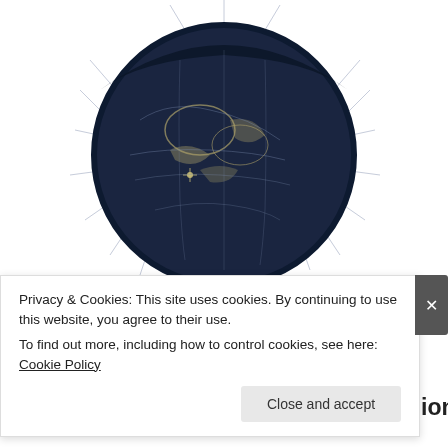[Figure (illustration): Dark navy blue moon/globe illustration with golden speckled continents and radiating lines/rays around it, on white background, partially cropped at top]
Advertisements
[Figure (other): DAY ONE app advertisement banner - light blue background with 'DAY ONE' text and device icons on left, 'The only journaling' text on right]
15 SQUARES COMPLETE  Companion
Privacy & Cookies: This site uses cookies. By continuing to use this website, you agree to their use.
To find out more, including how to control cookies, see here: Cookie Policy
Close and accept